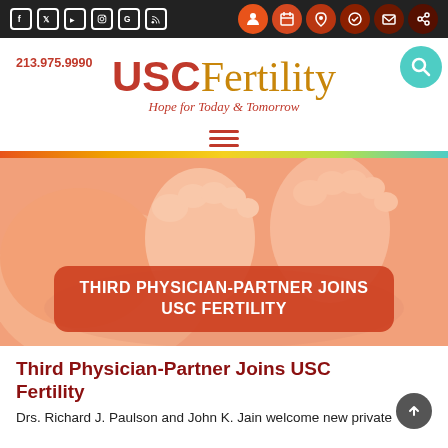Social media icons: Facebook, Twitter, YouTube, Instagram, Google, RSS | Right icons: people, calendar, location, checkmark, mail, share
[Figure (logo): USC Fertility logo with tagline 'Hope for Today & Tomorrow']
213.975.9990
[Figure (illustration): Close-up photo of baby feet held by adult hands, warm peach tones]
THIRD PHYSICIAN-PARTNER JOINS USC FERTILITY
Third Physician-Partner Joins USC Fertility
Drs. Richard J. Paulson and John K. Jain welcome new private